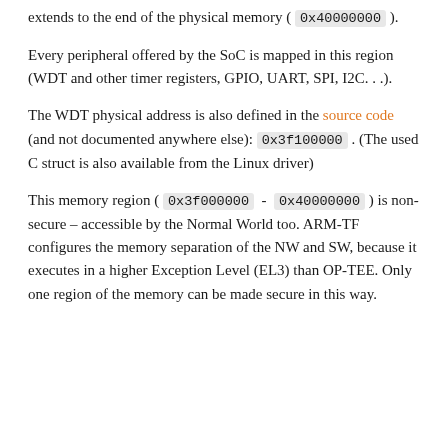extends to the end of the physical memory ( 0x40000000 ).
Every peripheral offered by the SoC is mapped in this region (WDT and other timer registers, GPIO, UART, SPI, I2C. . .).
The WDT physical address is also defined in the source code (and not documented anywhere else): 0x3f100000 . (The used C struct is also available from the Linux driver)
This memory region ( 0x3f000000 - 0x40000000 ) is non-secure – accessible by the Normal World too. ARM-TF configures the memory separation of the NW and SW, because it executes in a higher Exception Level (EL3) than OP-TEE. Only one region of the memory can be made secure in this way.